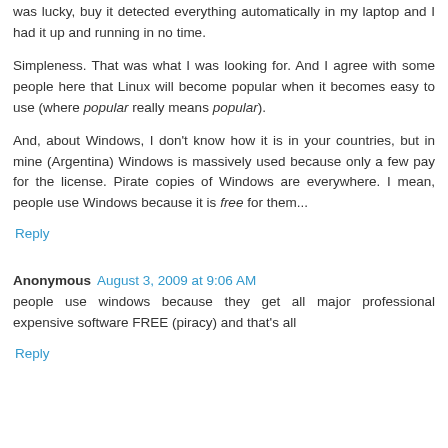was lucky, buy it detected everything automatically in my laptop and I had it up and running in no time.
Simpleness. That was what I was looking for. And I agree with some people here that Linux will become popular when it becomes easy to use (where popular really means popular).
And, about Windows, I don't know how it is in your countries, but in mine (Argentina) Windows is massively used because only a few pay for the license. Pirate copies of Windows are everywhere. I mean, people use Windows because it is free for them...
Reply
Anonymous August 3, 2009 at 9:06 AM
people use windows because they get all major professional expensive software FREE (piracy) and that's all
Reply